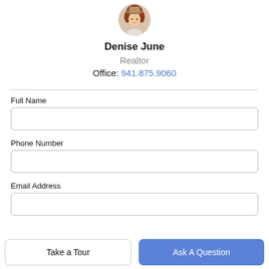[Figure (photo): Circular profile photo of a woman with red/auburn hair wearing a hat and light-colored top]
Denise June
Realtor
Office: 941.875.9060
Full Name
Phone Number
Email Address
Take a Tour
Ask A Question